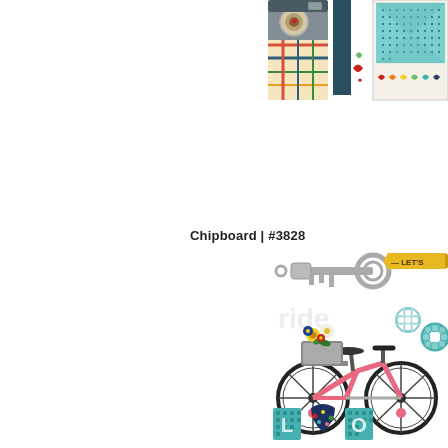[Figure (illustration): Scrapbook sticker sheet showing decorative camera with plaid pattern and colorful hearts, plus a dotted teal envelope frame with heart row stickers, partially visible at top right of page]
Chipboard | #3828
[Figure (illustration): Chipboard sticker sheet showing a vintage silver key, a yellow arrow banner with 'LET'S' text partially visible, a pink bicycle with flower basket, decorative flowers, teal floral shapes, and teal patterned letters/heart at the bottom]